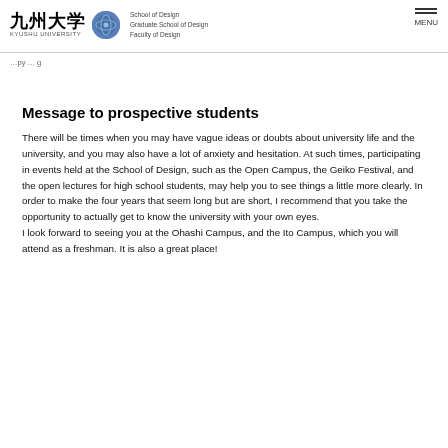九州大学 KYUSHU UNIVERSITY | School of Design Graduate School of Design Faculty of Design | MENU
…py … g
Message to prospective students
There will be times when you may have vague ideas or doubts about university life and the university, and you may also have a lot of anxiety and hesitation. At such times, participating in events held at the School of Design, such as the Open Campus, the Geiko Festival, and the open lectures for high school students, may help you to see things a little more clearly. In order to make the four years that seem long but are short, I recommend that you take the opportunity to actually get to know the university with your own eyes.
I look forward to seeing you at the Ohashi Campus, and the Ito Campus, which you will attend as a freshman. It is also a great place!